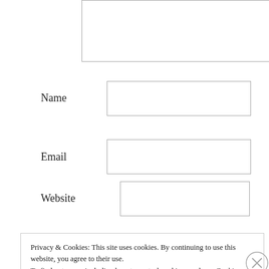[Figure (other): Partial textarea input box cropped at top of page with resize handle at bottom right]
Name
[Figure (other): Text input field for Name]
Email
[Figure (other): Text input field for Email]
Website
[Figure (other): Text input field for Website]
Privacy & Cookies: This site uses cookies. By continuing to use this website, you agree to their use.
To find out more, including how to control cookies, see here: Cookie Policy
Close and accept